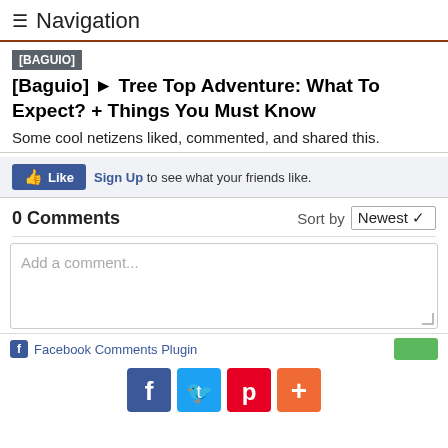≡ Navigation
[BAGUIO]
[Baguio] ► Tree Top Adventure: What To Expect? + Things You Must Know
Some cool netizens liked, commented, and shared this.
Like  Sign Up to see what your friends like.
0 Comments  Sort by Newest
Add a comment...
f  Facebook Comments Plugin
[Figure (other): Social share buttons: Facebook, Twitter, Pinterest, Plus]